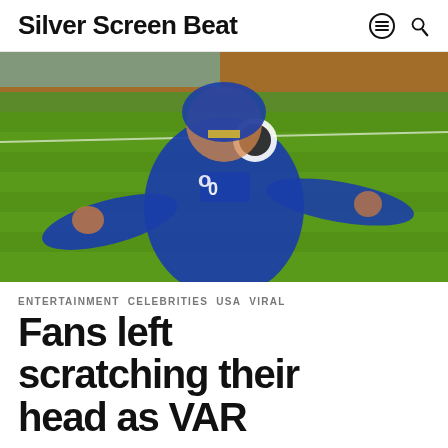Silver Screen Beat
[Figure (photo): A footballer wearing a blue jersey with a Premier League badge, celebrating with arms outstretched, head bowed, on a green pitch with orange stadium seating visible in the background.]
ENTERTAINMENT  CELEBRITIES  USA  VIRAL
Fans left scratching their head as VAR